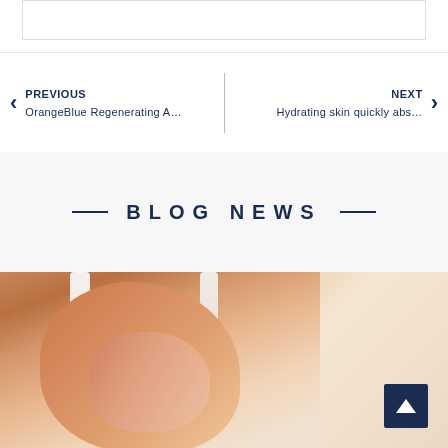[Figure (other): Top bordered box, partial image or content area at top of page]
PREVIOUS
OrangeBlue Regenerating A…
NEXT
Hydrating skin quickly abs…
— BLOG NEWS —
[Figure (photo): Photo of a woman applying lotion or cream to her leg/knee, wearing white straps/bra, skin-care related image]